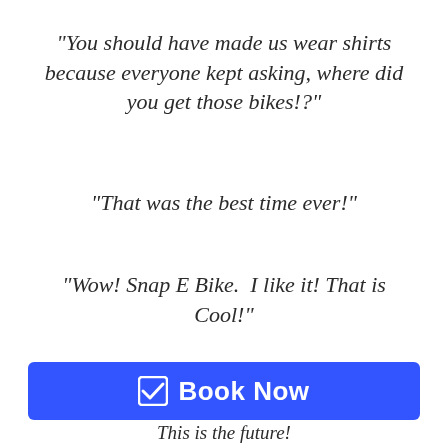"You should have made us wear shirts because everyone kept asking, where did you get those bikes!?"
"That was the best time ever!"
"Wow! Snap E Bike.  I like it! That is Cool!"
"I can't believe I have been pedaling all these years!"
Book Now
This is the future!